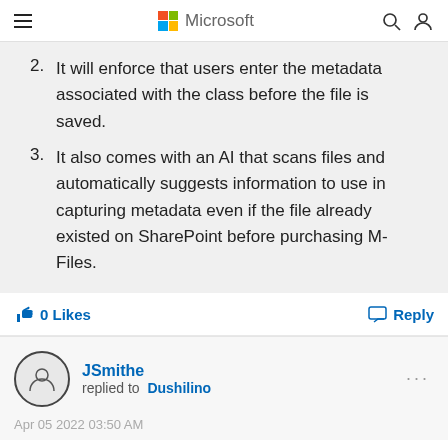Microsoft
2. It will enforce that users enter the metadata associated with the class before the file is saved.
3. It also comes with an AI that scans files and automatically suggests information to use in capturing metadata even if the file already existed on SharePoint before purchasing M-Files.
0 Likes
Reply
JSmithe replied to Dushilino
Apr 05 2022 03:50 AM